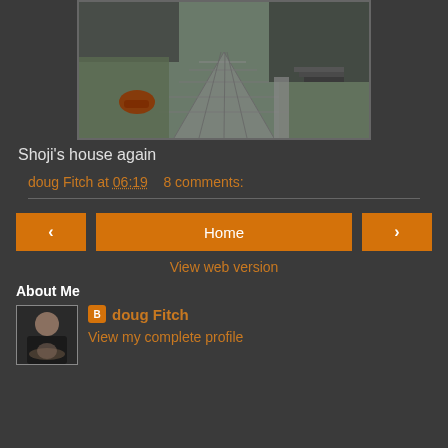[Figure (photo): Photo of a Japanese stone path/garden area leading toward a traditional house, with a red/brown object on the grass to the left]
Shoji's house again
doug Fitch at 06:19   8 comments:
< Home > View web version
About Me
[Figure (photo): Profile photo of doug Fitch, a person working with pottery on a wheel]
doug Fitch
View my complete profile